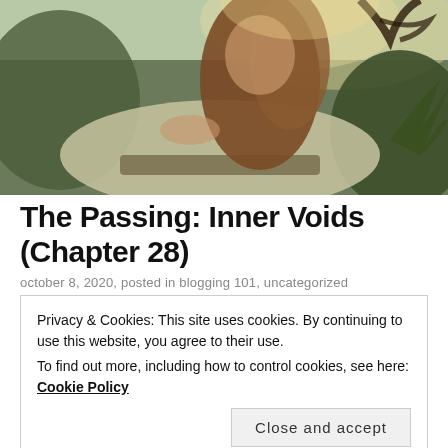[Figure (illustration): Fantasy illustration of a young woman with long brown hair reclining outdoors in nature, wearing earthy green/olive tones, with foliage in the background and warm golden lighting.]
The Passing: Inner Voids (Chapter 28)
october 8, 2020, posted in blogging 101, uncategorized
Privacy & Cookies: This site uses cookies. By continuing to use this website, you agree to their use.
To find out more, including how to control cookies, see here: Cookie Policy
Close and accept
underneath with the blended pinks and blues of an